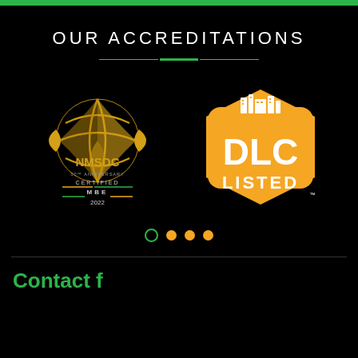OUR ACCREDITATIONS
[Figure (logo): NMSDC 50th Anniversary Certified MBE 2022 logo with gold globe/basketball design]
[Figure (logo): DLC Listed logo — orange hexagon badge with white buildings silhouette and DLC LISTED text]